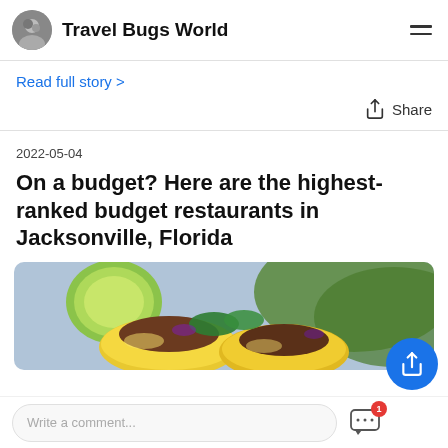Travel Bugs World
Read full story >
Share
2022-05-04
On a budget? Here are the highest-ranked budget restaurants in Jacksonville, Florida
[Figure (photo): Close-up photo of tacos with lime, cilantro, and colorful toppings on a blurred background]
Write a comment...